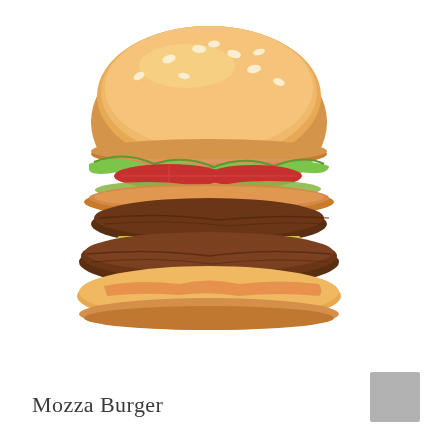[Figure (photo): A large burger (Mozza Burger) with a sesame seed bun, lettuce, tomato, pickles, two beef patties, mozzarella cheese, and sauce, shown deconstructed on a white background.]
Mozza Burger
[Figure (other): A small gray color swatch square in the bottom right corner.]